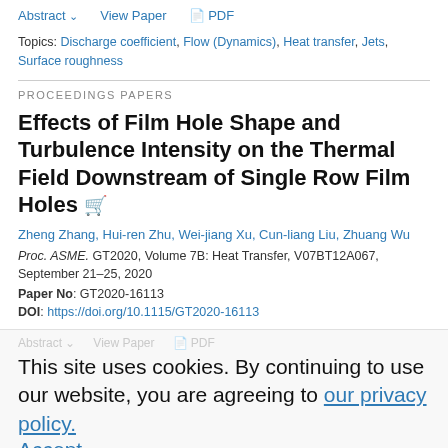Abstract | View Paper | PDF
Topics: Discharge coefficient, Flow (Dynamics), Heat transfer, Jets, Surface roughness
PROCEEDINGS PAPERS
Effects of Film Hole Shape and Turbulence Intensity on the Thermal Field Downstream of Single Row Film Holes
Zheng Zhang, Hui-ren Zhu, Wei-jiang Xu, Cun-liang Liu, Zhuang Wu
Proc. ASME. GT2020, Volume 7B: Heat Transfer, V07BT12A067, September 21–25, 2020
Paper No: GT2020-16113
DOI: https://doi.org/10.1115/GT2020-16113
This site uses cookies. By continuing to use our website, you are agreeing to our privacy policy. Accept